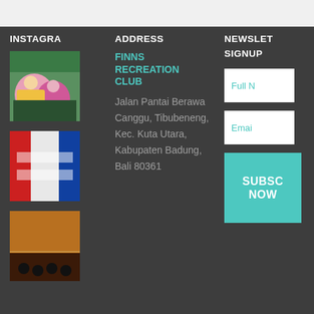INSTAGRA
[Figure (photo): Instagram photo 1: children playing with colorful toys]
[Figure (photo): Instagram photo 2: ribbon or banner with red, white and blue colors]
[Figure (photo): Instagram photo 3: bowling alley with bowling balls]
ADDRESS
FINNS RECREATION CLUB
Jalan Pantai Berawa Canggu, Tibubeneng, Kec. Kuta Utara, Kabupaten Badung, Bali 80361
NEWSLETTER SIGNUP
Full Name (placeholder)
Email (placeholder)
SUBSCRIBE NOW